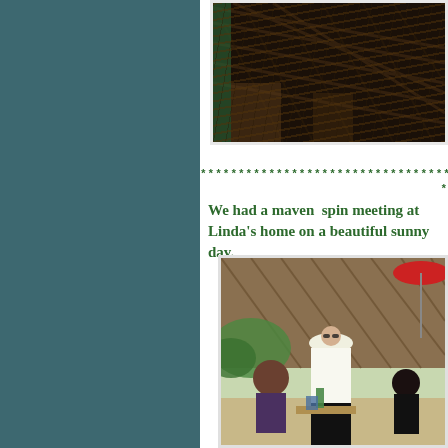[Figure (photo): Indoor photo showing overhead structure with dark wooden beams/lattice, appears to be a pergola or covered patio ceiling viewed from below]
*************************************** *
We had a maven  spin meeting at Linda's home on a beautiful sunny day.
[Figure (photo): Outdoor garden gathering showing a woman in a white hat and white shirt sitting in a garden with a wooden fence/trellis in the background, a red umbrella visible top right, other people seated around]